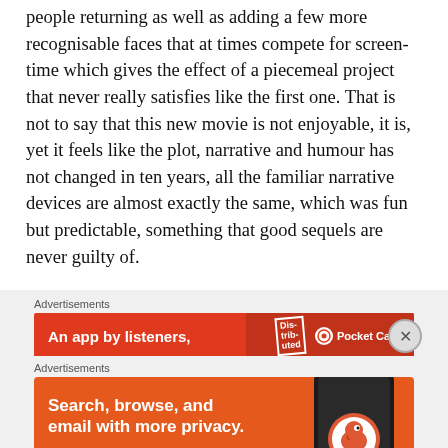people returning as well as adding a few more recognisable faces that at times compete for screen-time which gives the effect of a piecemeal project that never really satisfies like the first one. That is not to say that this new movie is not enjoyable, it is, yet it feels like the plot, narrative and humour has not changed in ten years, all the familiar narrative devices are almost exactly the same, which was fun but predictable, something that good sequels are never guilty of.
[Figure (screenshot): Advertisement banner: Pocket Casts app ad with red background, text 'An app by listeners,' and Pocket Casts logo on right, with close button (X)]
[Figure (screenshot): Advertisement banner: DuckDuckGo app ad with orange background, text 'Search, browse, and email with more privacy. All in One Free App', phone image on right with DuckDuckGo logo]